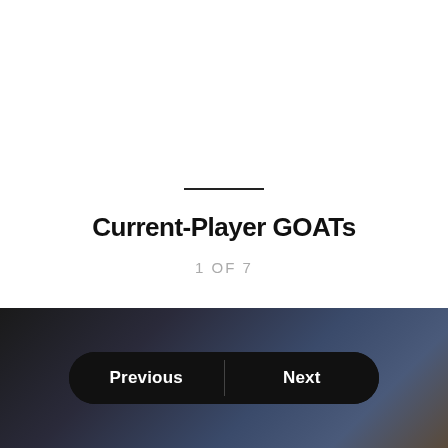Current-Player GOATs
1 OF 7
[Figure (photo): Blurred background image with dark tones, blues and browns, partially visible at the bottom of the page]
Previous
Next